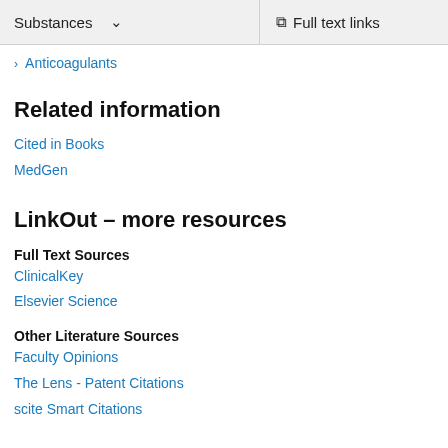Substances   Full text links
> Anticoagulants
Related information
Cited in Books
MedGen
LinkOut – more resources
Full Text Sources
ClinicalKey
Elsevier Science
Other Literature Sources
Faculty Opinions
The Lens - Patent Citations
scite Smart Citations